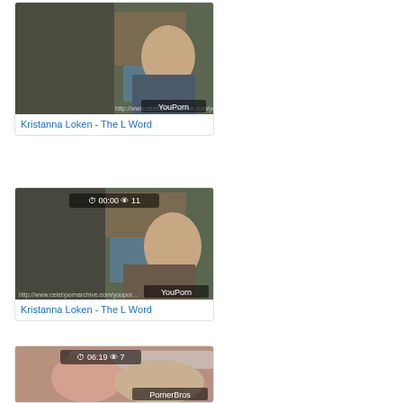[Figure (screenshot): Video thumbnail - classroom scene with YouPorn watermark]
Kristanna Loken - The L Word
[Figure (screenshot): Video thumbnail - classroom scene with timer 00:00, views 11, YouPorn watermark]
Kristanna Loken - The L Word
[Figure (screenshot): Video thumbnail - bath scene with timer 06:19, views 7, PornerBros watermark]